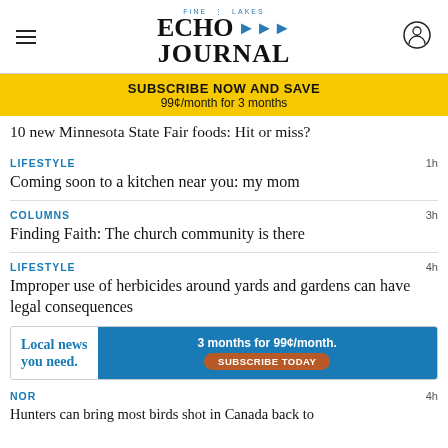Fine Lakes Echo Journal
SUBSCRIBE NOW AND SAVE
99¢/month for 3 months
10 new Minnesota State Fair foods: Hit or miss?
LIFESTYLE
Coming soon to a kitchen near you: my mom
COLUMNS
Finding Faith: The church community is there
LIFESTYLE
Improper use of herbicides around yards and gardens can have legal consequences
[Figure (infographic): Advertisement banner: Local news you need. 3 months for 99¢/month. Subscribe Today button.]
NOR
Hunters can bring most birds shot in Canada back to...